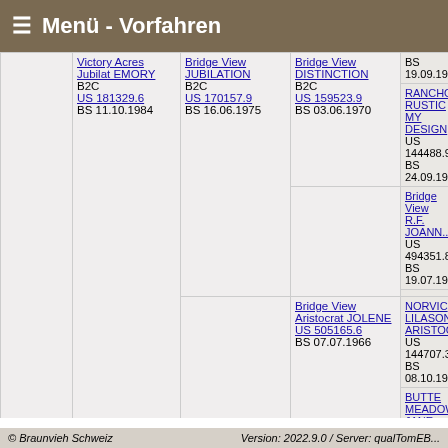☰ Menü - Vorfahren
| Col1 | Col2 | Col3 | Col4 | Col5 |
| --- | --- | --- | --- | --- |
|  |  |  |  | BS 19.09.19... |
|  |  |  | Bridge View DISTINCTION B2C US 159523.9 BS 03.06.1970 | RANCHO RUSTIC MY DESIGN B US 144488.9... BS 24.09.19... |
|  |  | Bridge View JUBILATION B2C US 170157.9 BS 16.06.1975 |  | Bridge View R.F. JOANN... US 494351.8... BS 19.07.19... |
|  |  |  | Bridge View Aristocrat JOLENE US 505165.6 BS 07.07.1966 | NORVIC LILASON ARISTOCRA... US 144707.3... BS 08.10.19... |
|  | Victory Acres Jubilat EMORY B2C US 181329.6 BS 11.10.1984 |  |  | BUTTE MEADOWS JANE US 447575.0... BS 07.02.19... |
|  |  |  |  | Welcome in... STRETCH US 143612.9... BS 15.07.19... |
|  |  |  | West Lawn Stretch IMPROVER SMC | West Lawn... |
© Braunvieh Schweiz    Version: 2022.9.0 / Server: qualTomEB...